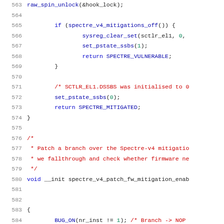[Figure (screenshot): Source code listing showing lines 563–584 of a C kernel file related to Spectre v4 mitigations. Lines include function calls like spectre_v4_mitigations_off(), sysreg_clear_set(), set_pstate_ssbs(), return statements for SPECTRE_VULNERABLE and SPECTRE_MITIGATED, comment blocks, and a void __init function definition for spectre_v4_patch_fw_mitigation_enable.]